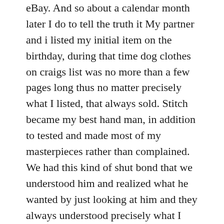eBay. And so about a calendar month later I do to tell the truth it My partner and i listed my initial item on the birthday, during that time dog clothes on craigs list was no more than a few pages long thus no matter precisely what I listed, that always sold. Stitch became my best hand man, in addition to tested and made most of my masterpieces rather than complained. We had this kind of shut bond that we understood him and realized what he wanted by just looking at him and they always understood precisely what I told him and sometimes it will just blow myself away.
None involving my items might sell for over about $10 but of which was a whole lot intended for me and I actually was proud, ultimately I started helping to make dog dresses, this took some adjustment but I eventually got the style right. So seeing that the months handed Stitch became the